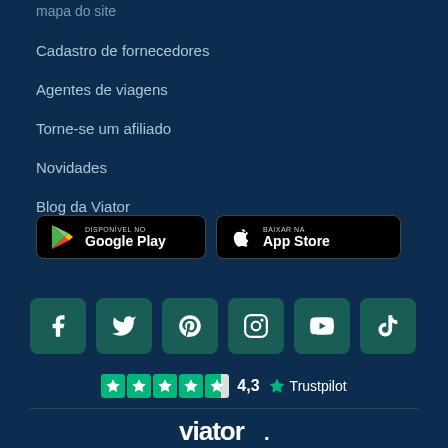mapa do site
Cadastro de fornecedores
Agentes de viagens
Torne-se um afiliado
Novidades
Blog da Viator
[Figure (screenshot): Google Play and App Store download buttons]
[Figure (infographic): Social media icons: Facebook, Twitter, Pinterest, Instagram, YouTube, TikTok]
[Figure (infographic): Trustpilot rating 4.3 stars]
[Figure (logo): Viator logo]